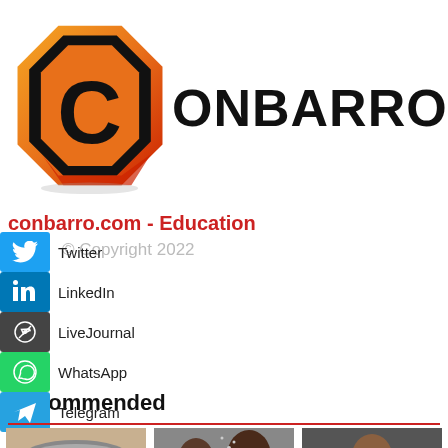[Figure (logo): Conbarro.com logo: orange/red octagonal icon with stylized C, next to bold text ONBARRO.COM]
conbarro.com - Education
© Copyright 2022
Twitter
LinkedIn
LiveJournal
WhatsApp
Telegram
Recommended
[Figure (photo): Thumbnail of a typewriter keyboard]
[Figure (photo): Thumbnail of two women, one whispering to another wearing glasses]
[Figure (photo): Thumbnail of a person shouting or gesturing]